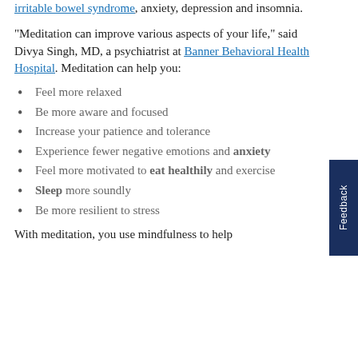irritable bowel syndrome, anxiety, depression and insomnia.
"Meditation can improve various aspects of your life," said Divya Singh, MD, a psychiatrist at Banner Behavioral Health Hospital. Meditation can help you:
Feel more relaxed
Be more aware and focused
Increase your patience and tolerance
Experience fewer negative emotions and anxiety
Feel more motivated to eat healthily and exercise
Sleep more soundly
Be more resilient to stress
With meditation, you use mindfulness to help